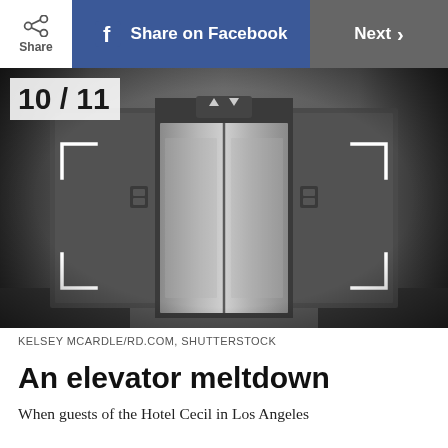Share | Share on Facebook | Next >
[Figure (photo): Black and white photograph of a hotel elevator lobby with closed elevator doors and call buttons on either side, shown with camera viewfinder corner brackets overlay. Slide number 10/11 shown in top left.]
KELSEY MCARDLE/RD.COM, SHUTTERSTOCK
An elevator meltdown
When guests of the Hotel Cecil in Los Angeles